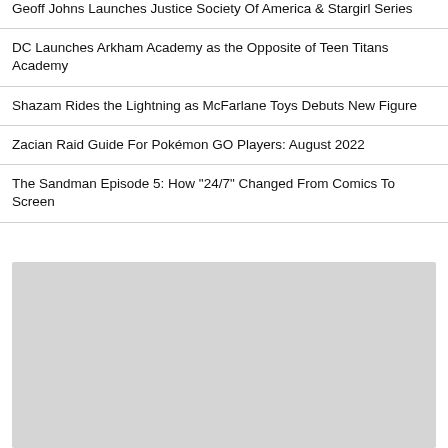Geoff Johns Launches Justice Society Of America & Stargirl Series
DC Launches Arkham Academy as the Opposite of Teen Titans Academy
Shazam Rides the Lightning as McFarlane Toys Debuts New Figure
Zacian Raid Guide For Pokémon GO Players: August 2022
The Sandman Episode 5: How "24/7" Changed From Comics To Screen
[Figure (other): Gray placeholder image block]